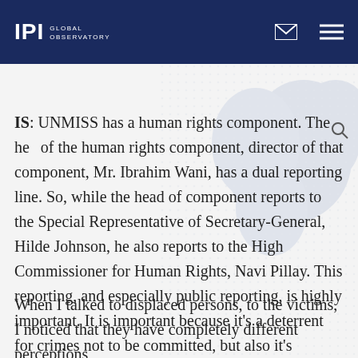IPI GLOBAL OBSERVATORY
IS: UNMISS has a human rights component. The head of the human rights component, director of that component, Mr. Ibrahim Wani, has a dual reporting line. So, while the head of component reports to the Special Representative of Secretary-General, Hilde Johnson, he also reports to the High Commissioner for Human Rights, Navi Pillay. This reporting, and especially public reporting, is highly important. It is important because it's a deterrent for crimes not to be committed, but also it's important that people are informed of the hard facts related to human rights violations, their victims and their perpetrators.
When I talked to displaced persons, to the victims, I noticed that they have completely different perceptions